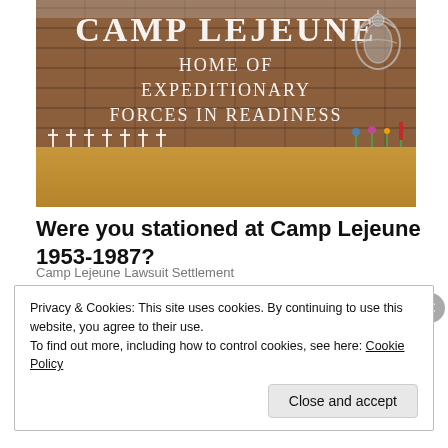[Figure (photo): Photo of Camp Lejeune entrance sign on a brick wall reading 'CAMP LEJEUNE HOME OF EXPEDITIONARY FORCES IN READINESS' with a Marine Corps emblem on the right and memorial flowers/crosses arranged at the base of the wall]
Were you stationed at Camp Lejeune 1953-1987?
Camp Lejeune Lawsuit Settlement
Privacy & Cookies: This site uses cookies. By continuing to use this website, you agree to their use.
To find out more, including how to control cookies, see here: Cookie Policy
Close and accept